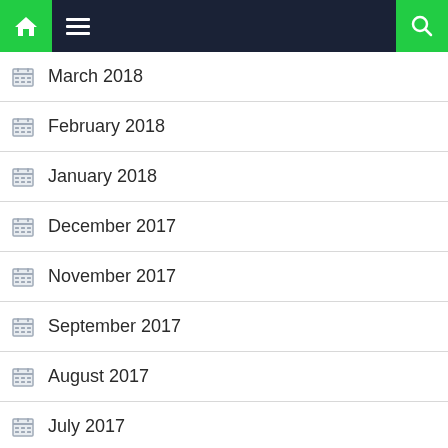Navigation bar with home, menu, and search icons
March 2018
February 2018
January 2018
December 2017
November 2017
September 2017
August 2017
July 2017
May 2017
March 2017